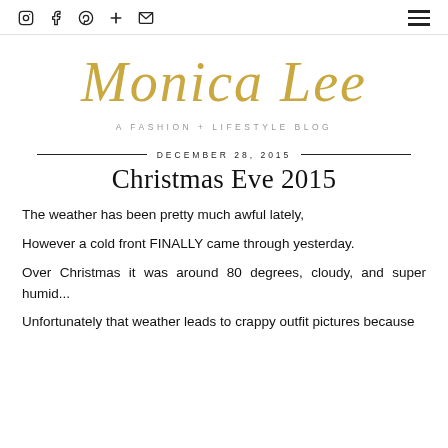Monica Lee — A FASHION + LIFESTYLE BLOG
Monica Lee
A FASHION + LIFESTYLE BLOG
DECEMBER 28, 2015
Christmas Eve 2015
The weather has been pretty much awful lately,
However a cold front FINALLY came through yesterday.
Over Christmas it was around 80 degrees, cloudy, and super humid...
Unfortunately that weather leads to crappy outfit pictures because